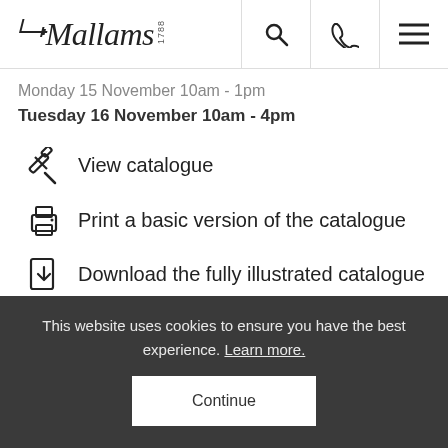Mallams 1788
Monday 15 November 10am - 1pm
Tuesday 16 November 10am - 4pm
View catalogue
Print a basic version of the catalogue
Download the fully illustrated catalogue
View the fully illustrated catalogue online
This website uses cookies to ensure you have the best experience. Learn more.
Continue